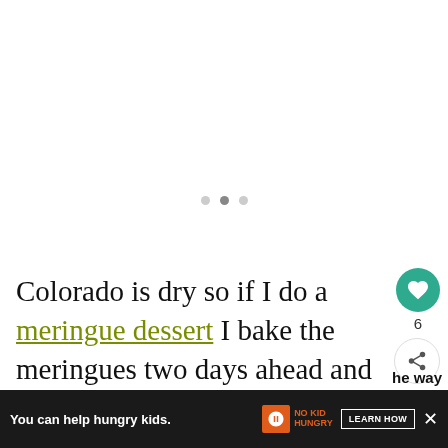[Figure (photo): Large image area at top, mostly white/light, with three small grey dots centered indicating a slideshow or loading indicator]
Colorado is dry so if I do a meringue dessert I bake the meringues two days ahead and assemble the day of. cakes can be frozen and thawed and the way
[Figure (photo): Small thumbnail of New Orleans Red Beans dish — WHAT'S NEXT panel]
[Figure (infographic): Advertisement bar at bottom: You can help hungry kids. NO KID HUNGRY. LEARN HOW. With close X button.]